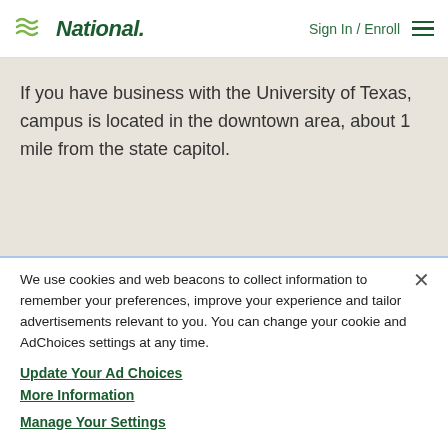National   Sign In / Enroll
If you have business with the University of Texas, campus is located in the downtown area, about 1 mile from the state capitol.
We use cookies and web beacons to collect information to remember your preferences, improve your experience and tailor advertisements relevant to you. You can change your cookie and AdChoices settings at any time.
Update Your Ad Choices
More Information
Manage Your Settings